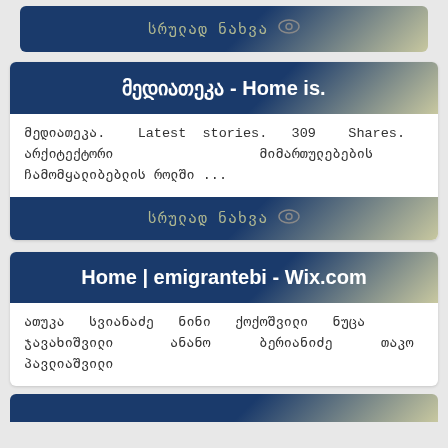[Figure (screenshot): Top bar with Georgian text 'სრულად ნახვა' and eye icon, gradient blue to tan]
მედიათეკა - Home is.
მედიათეკა. Latest stories. 309 Shares. არქიტექტორი მიმართულებების ჩამომყალიბებლის როლში ...
[Figure (screenshot): Footer bar with Georgian text 'სრულად ნახვა' and eye icon, gradient blue to tan]
Home | emigrantebi - Wix.com
ათუკა სვიანაძე ნინი ქოქოშვილი ნუცა ჯავახიშვილი ანანო ბერიანიძე თაკო პავლიაშვილი
[Figure (screenshot): Bottom partial bar, gradient blue]